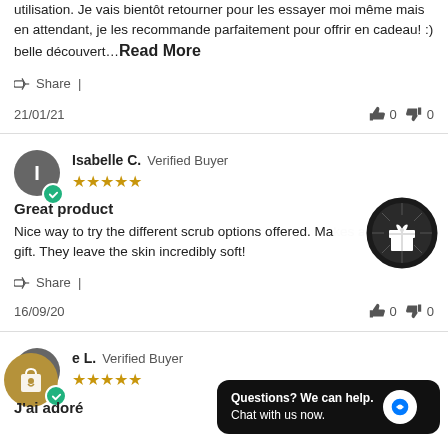utilisation. Je vais bientôt retourner pour les essayer moi même mais en attendant, je les recommande parfaitement pour offrir en cadeau! :) belle découvert…Read More
Share |
21/01/21   👍 0  👎 0
Isabelle C. Verified Buyer ★★★★★
Great product
Nice way to try the different scrub options offered. Ma... gift. They leave the skin incredibly soft!
Share |
16/09/20   👍 0  👎 0
e L. Verified Buyer ★★★★★
J'ai adoré
Questions? We can help. Chat with us now.